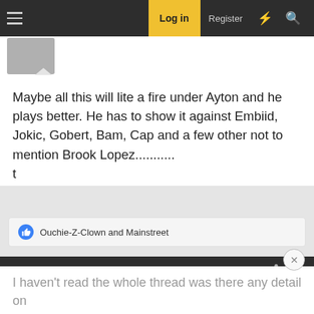Log in  Register
Maybe all this will lite a fire under Ayton and he plays better. He has to show it against Embiid, Jokic, Gobert, Bam, Cap and a few other not to mention Brook Lopez...........
t
Ouchie-Z-Clown and Mainstreet
Jan 21, 2021  #52
Russ Smith
The Original Whizzinator  Supporting Member
I haven't read the whole thread was there any detail on who they contacted and what they were looking for? I...